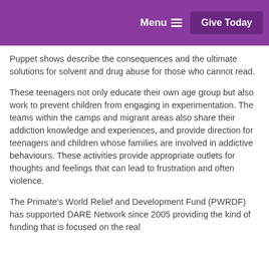Menu  Give Today
Puppet shows describe the consequences and the ultimate solutions for solvent and drug abuse for those who cannot read.
These teenagers not only educate their own age group but also work to prevent children from engaging in experimentation. The teams within the camps and migrant areas also share their addiction knowledge and experiences, and provide direction for teenagers and children whose families are involved in addictive behaviours. These activities provide appropriate outlets for thoughts and feelings that can lead to frustration and often violence.
The Primate's World Relief and Development Fund (PWRDF) has supported DARE Network since 2005 providing the kind of funding that is focused on the real